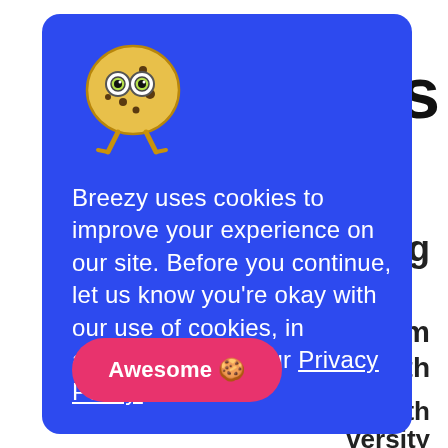ons
ng
gram
nce with
g with
versity
[Figure (illustration): Cookie monster character illustration - a round cookie with googly glasses and legs]
Breezy uses cookies to improve your experience on our site. Before you continue, let us know you're okay with our use of cookies, in accordance with our Privacy Policy.